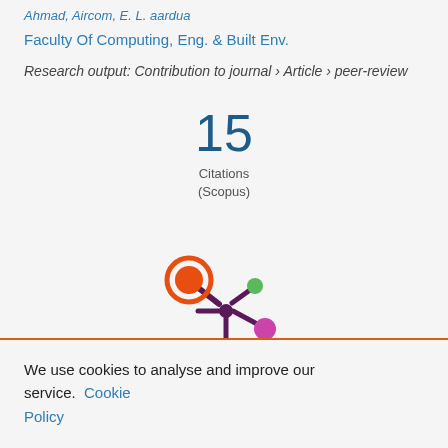Faculty Of Computing, Eng. & Built Env.
Research output: Contribution to journal › Article › peer-review
15
Citations
(Scopus)
[Figure (logo): Altmetric logo: a colorful asterisk-like symbol with orange, green, and magenta circles connected by dark purple lines]
We use cookies to analyse and improve our service. Cookie Policy